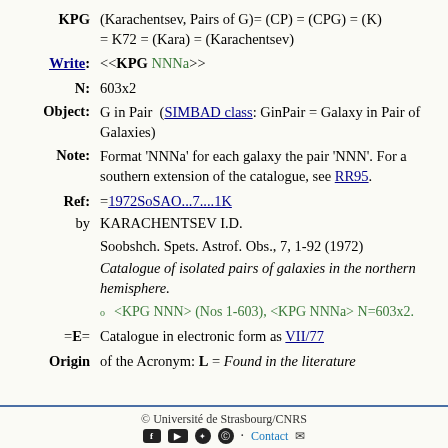KPG (Karachentsev, Pairs of G)= (CP) = (CPG) = (K) = K72 = (Kara) = (Karachentsev)
Write: <<KPG NNNa>>
N: 603x2
Object: G in Pair (SIMBAD class: GinPair = Galaxy in Pair of Galaxies)
Note: Format 'NNNa' for each galaxy the pair 'NNN'. For a southern extension of the catalogue, see RR95.
Ref: =1972SoSAO...7....1K
by KARACHENTSEV I.D.
Soobshch. Spets. Astrof. Obs., 7, 1-92 (1972)
Catalogue of isolated pairs of galaxies in the northern hemisphere.
<KPG NNN> (Nos 1-603), <KPG NNNa> N=603x2.
=E= Catalogue in electronic form as VII/77
Origin of the Acronym: L = Found in the literature
© Université de Strasbourg/CNRS Contact